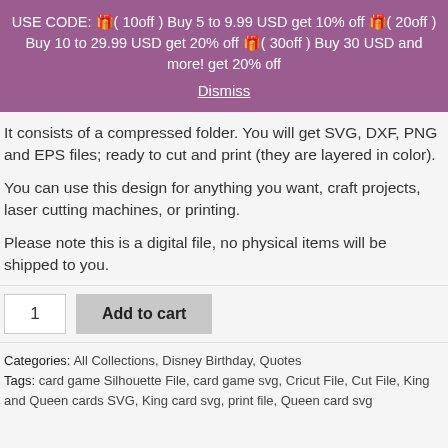USE CODE: 🎁( 10off ) Buy 5 to 9.99 USD get 10% off 🎁( 20off ) Buy 10 to 29.99 USD get 20% off 🎁( 30off ) Buy 30 USD and more! get 20% off
Dismiss
It consists of a compressed folder. You will get SVG, DXF, PNG and EPS files; ready to cut and print (they are layered in color).
You can use this design for anything you want, craft projects, laser cutting machines, or printing.
Please note this is a digital file, no physical items will be shipped to you.
1  Add to cart
Categories: All Collections, Disney Birthday, Quotes
Tags: card game Silhouette File, card game svg, Cricut File, Cut File, King and Queen cards SVG, King card svg, print file, Queen card svg